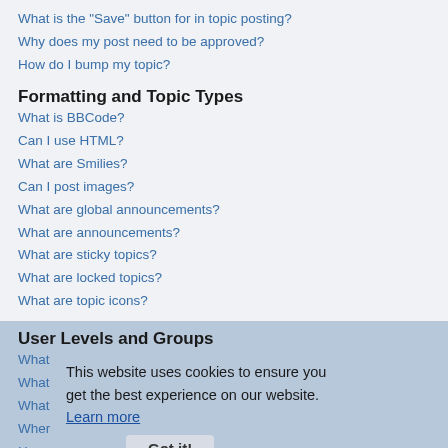What is the “Save” button for in topic posting?
Why does my post need to be approved?
How do I bump my topic?
Formatting and Topic Types
What is BBCode?
Can I use HTML?
What are Smilies?
Can I post images?
What are global announcements?
What are announcements?
What are sticky topics?
What are locked topics?
What are topic icons?
User Levels and Groups
What are Administrators?
What are Moderators?
What are usergroups?
Where are the usergroups and how do I join one?
How do I become a usergroup leader?
Why do some usergroups appear in a different colour?
What is a “Default usergroup”?
This website uses cookies to ensure you get the best experience on our website. Learn more Got it!